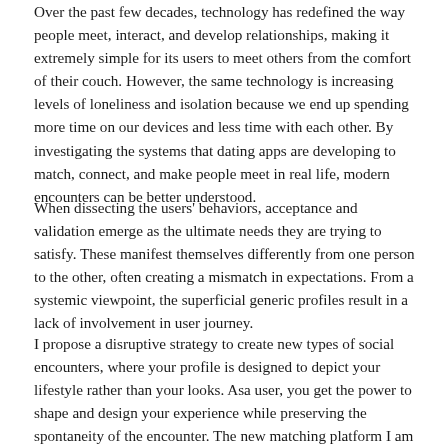Over the past few decades, technology has redefined the way people meet, interact, and develop relationships, making it extremely simple for its users to meet others from the comfort of their couch. However, the same technology is increasing levels of loneliness and isolation because we end up spending more time on our devices and less time with each other. By investigating the systems that dating apps are developing to match, connect, and make people meet in real life, modern encounters can be better understood.
When dissecting the users' behaviors, acceptance and validation emerge as the ultimate needs they are trying to satisfy. These manifest themselves differently from one person to the other, often creating a mismatch in expectations. From a systemic viewpoint, the superficial generic profiles result in a lack of involvement in user journey.
I propose a disruptive strategy to create new types of social encounters, where your profile is designed to depict your lifestyle rather than your looks. Asa user, you get the power to shape and design your experience while preserving the spontaneity of the encounter. The new matching platform I am proposing is a systemic design intervention. When you go online, you select the type of encounter and activity that you are looking for. Matching happens instantly: you are presented with online users who are available now, in your immediate area, with similar